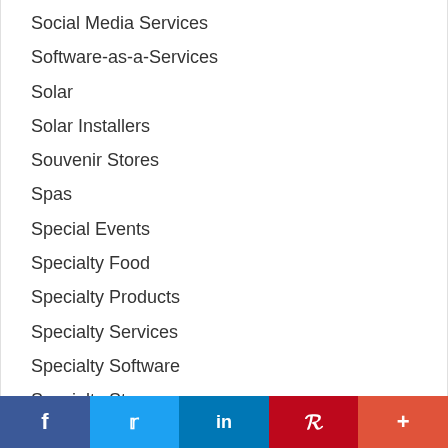Social Media Services
Software-as-a-Services
Solar
Solar Installers
Souvenir Stores
Spas
Special Events
Specialty Food
Specialty Products
Specialty Services
Specialty Software
Specialty Stores
Specialty Technology
Sporting Events